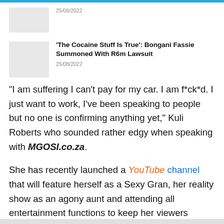25/08/2022
'The Cocaine Stuff Is True': Bongani Fassie Summoned With R6m Lawsuit
25/08/2022
“I am suffering I can’t pay for my car. I am f*ck*d. I just want to work, I’ve been speaking to people but no one is confirming anything yet,” Kuli Roberts who sounded rather edgy when speaking with MGOSI.co.za.
She has recently launched a YouTube channel that will feature herself as a Sexy Gran, her reality show as an agony aunt and attending all entertainment functions to keep her viewers locked to the channel.